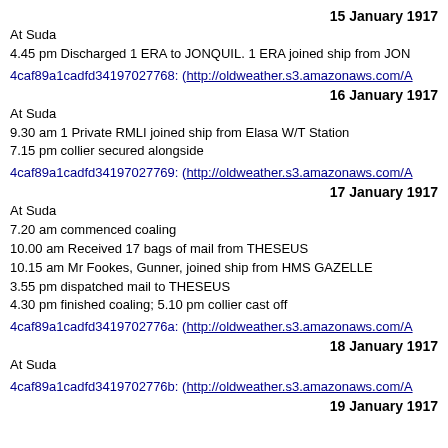15 January 1917
At Suda
4.45 pm Discharged 1 ERA to JONQUIL. 1 ERA joined ship from JON
4caf89a1cadfd34197027768: (http://oldweather.s3.amazonaws.com/A
16 January 1917
At Suda
9.30 am 1 Private RMLI joined ship from Elasa W/T Station
7.15 pm collier secured alongside
4caf89a1cadfd34197027769: (http://oldweather.s3.amazonaws.com/A
17 January 1917
At Suda
7.20 am commenced coaling
10.00 am Received 17 bags of mail from THESEUS
10.15 am Mr Fookes, Gunner, joined ship from HMS GAZELLE
3.55 pm dispatched mail to THESEUS
4.30 pm finished coaling; 5.10 pm collier cast off
4caf89a1cadfd3419702776a: (http://oldweather.s3.amazonaws.com/A
18 January 1917
At Suda
4caf89a1cadfd3419702776b: (http://oldweather.s3.amazonaws.com/A
19 January 1917